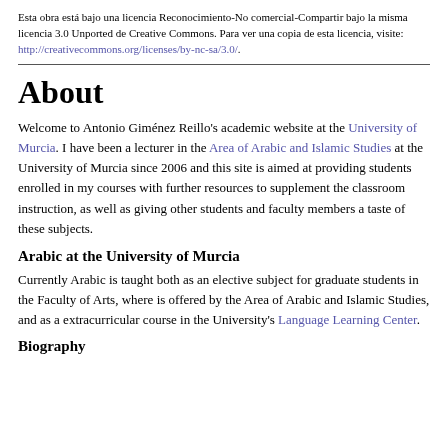Esta obra está bajo una licencia Reconocimiento-No comercial-Compartir bajo la misma licencia 3.0 Unported de Creative Commons. Para ver una copia de esta licencia, visite: http://creativecommons.org/licenses/by-nc-sa/3.0/.
About
Welcome to Antonio Giménez Reillo's academic website at the University of Murcia. I have been a lecturer in the Area of Arabic and Islamic Studies at the University of Murcia since 2006 and this site is aimed at providing students enrolled in my courses with further resources to supplement the classroom instruction, as well as giving other students and faculty members a taste of these subjects.
Arabic at the University of Murcia
Currently Arabic is taught both as an elective subject for graduate students in the Faculty of Arts, where is offered by the Area of Arabic and Islamic Studies, and as a extracurricular course in the University's Language Learning Center.
Biography